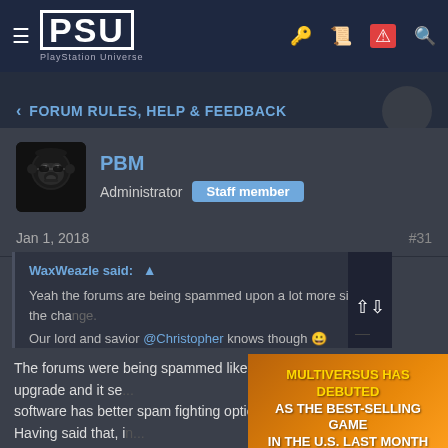PSU — PlayStation Universe — FORUM RULES, HELP & FEEDBACK
< FORUM RULES, HELP & FEEDBACK
PBM
Administrator  Staff member
Jan 1, 2018  #31
WaxWeazle said: ↑
Yeah the forums are being spammed upon a lot more since the change.
Our lord and savior @Christopher knows though 😀
The forums were being spammed like th... apocalypse before the upgrade and it se... software has better spam fighting option... sure we'll figure it out. Having said that, in... a spam bot, ban their IP and delete all th... clicks. I just banned about 4 spam bots a...
[Figure (screenshot): Advertisement overlay: MULTIVERSUS HAS DEBUTED AS THE BEST-SELLING GAME IN THE U.S. LAST MONTH]